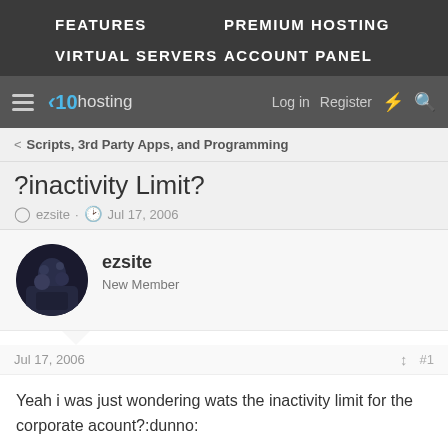FEATURES   PREMIUM HOSTING   VIRTUAL SERVERS   ACCOUNT PANEL
[Figure (logo): x10hosting logo with navigation bar showing hamburger menu, Log in, Register, lightning bolt and search icons]
< Scripts, 3rd Party Apps, and Programming
?inactivity Limit?
ezsite · Jul 17, 2006
ezsite
New Member
Jul 17, 2006   #1
Yeah i was just wondering wats the inactivity limit for the corporate acount?:dunno: